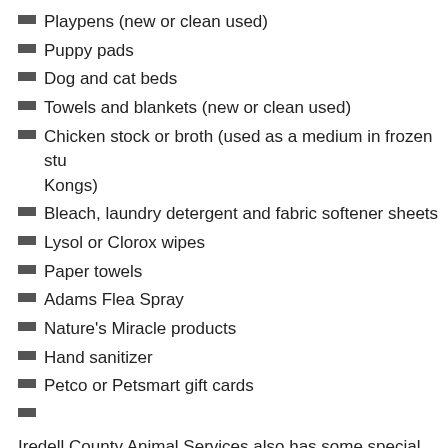Playpens (new or clean used)
Puppy pads
Dog and cat beds
Towels and blankets (new or clean used)
Chicken stock or broth (used as a medium in frozen stu… Kongs)
Bleach, laundry detergent and fabric softener sheets
Lysol or Clorox wipes
Paper towels
Adams Flea Spray
Nature's Miracle products
Hand sanitizer
Petco or Petsmart gift cards
Iredell County Animal Services also has some special needs… surgery room.
Plastic buckets...